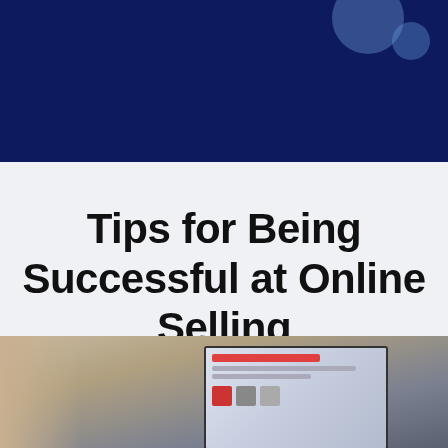[Figure (illustration): Dark navy blue header banner with two partially visible translucent blue circles in the upper right corner]
Tips for Being Successful at Online Selling
[Figure (photo): Photograph of a laptop screen showing an e-commerce website, with blurred foreground]